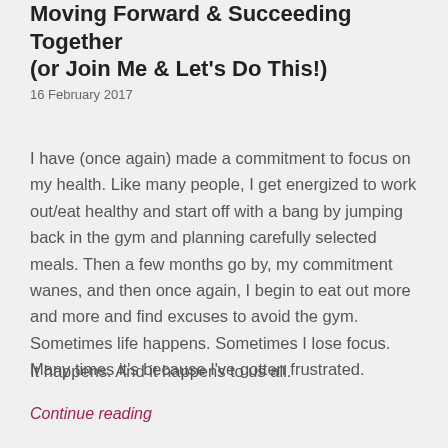Moving Forward & Succeeding Together (or Join Me & Let's Do This!)
16 February 2017
I have (once again) made a commitment to focus on my health. Like many people, I get energized to work out/eat healthy and start off with a bang by jumping back in the gym and planning carefully selected meals. Then a few months go by, my commitment wanes, and then once again, I begin to eat out more and more and find excuses to avoid the gym. Sometimes life happens. Sometimes I lose focus. Many times it's because I've gotten frustrated.
It happens. And it happens to us all.
Continue reading